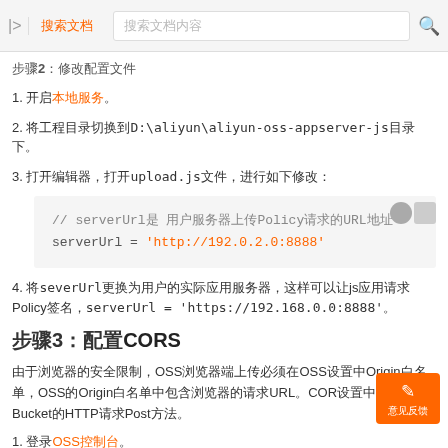搜索文档
步骤2：修改配置文件
1. 开启本地服务。
2. 将工程目录切换到D:\aliyun\aliyun-oss-appserver-js目录下。
3. 打开编辑器，打开upload.js文件，进行如下修改：
[Figure (screenshot): Code block showing: // serverUrl是 用户服务器上传Policy请求的URL地址
serverUrl = 'http://192.0.2.0:8888']
4. 将severUrl更换为用户的实际应用服务器，这样可以让js应用请求Policy签名，serverUrl = 'https://192.168.0.0:8888'。
步骤3：配置CORS
由于浏览器的安全限制，OSS浏览器端上传必须在OSS设置中Origin白名单，OSS的Origin白名单中包含浏览器的请求URL。COR设置中需要包含Bucket的HTTP请求Post方法。
1. 登录OSS控制台。